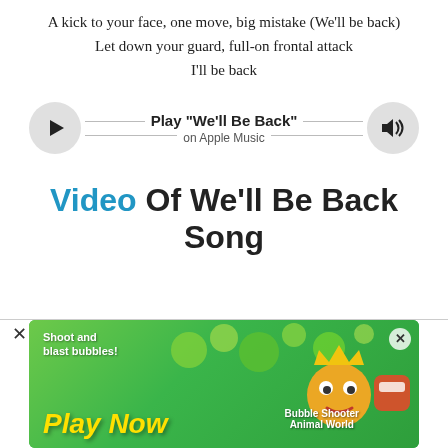A kick to your face, one move, big mistake (We'll be back)
Let down your guard, full-on frontal attack
I'll be back
[Figure (other): Apple Music player bar with play button, song title 'Play "We'll Be Back"', 'on Apple Music' subtitle, and volume button]
Video Of We'll Be Back Song
[Figure (other): Advertisement banner: 'Shoot and blast bubbles! Play Now' game ad with green bubble shooter theme, animal characters, 'Bubble Shooter Animal World' text, and close X button]